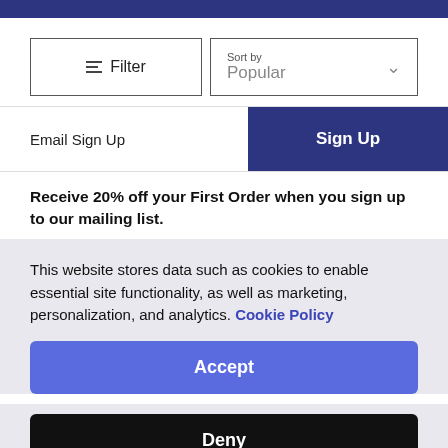[Figure (screenshot): Dark navy blue top bar banner]
[Figure (screenshot): Filter and Sort by Popular dropdown UI controls]
[Figure (screenshot): Email Sign Up input row with Sign Up button]
Receive 20% off your First Order when you sign up to our mailing list.
This website stores data such as cookies to enable essential site functionality, as well as marketing, personalization, and analytics. Cookie Policy
Accept
Deny